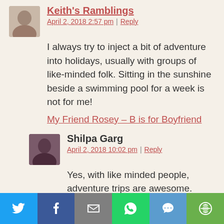[Figure (photo): Avatar photo of Keith's Ramblings blogger, small portrait in rounded rectangle]
Keith's Ramblings
April 2, 2018 2:57 pm | Reply
I always try to inject a bit of adventure into holidays, usually with groups of like-minded folk. Sitting in the sunshine beside a swimming pool for a week is not for me!
My Friend Rosey – B is for Boyfriend
[Figure (photo): Avatar photo of Shilpa Garg, small portrait in rounded rectangle]
Shilpa Garg
April 2, 2018 10:02 pm | Reply
Yes, with like minded people, adventure trips are awesome. Thanks for dropping by, Keith. Good to see you here 🙂
[Figure (infographic): Social share bar with Twitter, Facebook, Email, WhatsApp, SMS, and More buttons]